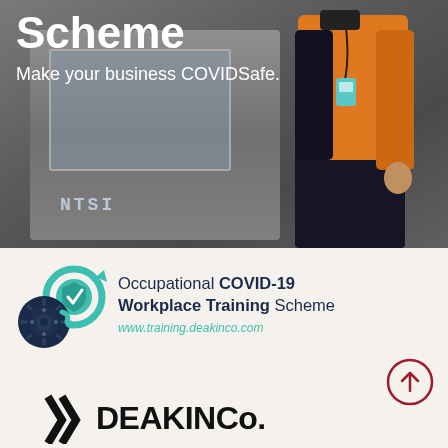[Figure (photo): Worker in orange high-visibility jacket standing in front of industrial machinery, wearing a lanyard with ID badge. Dark background with machinery visible.]
Scheme
Make your business COVIDSafe.
[Figure (logo): Circular logo with teal/turquoise recycling arrows containing a checkmark shield icon, and a dark navy circle with a coronavirus/gear icon. Represents Occupational COVID-19 Workplace Training Scheme.]
Occupational COVID-19 Workplace Training Scheme
www.training.deakinco.com
[Figure (logo): DEAKINCo. logo with angular chevron/wave marks followed by DEAKINCo. wordmark in bold black text.]
[Figure (other): Dark red/crimson circular button with upward-pointing arrow inside.]